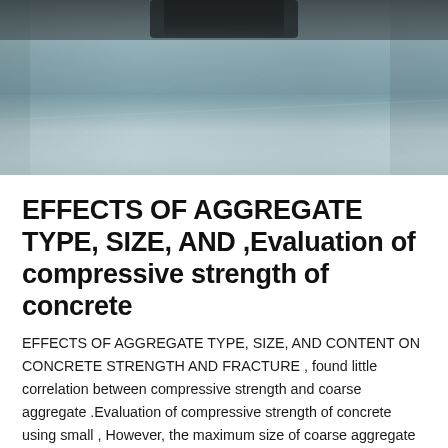[Figure (photo): Interior photo of a large industrial or warehouse space with reflective concrete floor and structural elements visible at the top.]
EFFECTS OF AGGREGATE TYPE, SIZE, AND ,Evaluation of compressive strength of concrete
EFFECTS OF AGGREGATE TYPE, SIZE, AND CONTENT ON CONCRETE STRENGTH AND FRACTURE , found little correlation between compressive strength and coarse aggregate .Evaluation of compressive strength of concrete using small , However, the maximum size of coarse aggregate in RC or PC structures is generally 20mm or 25mm.
[Figure (other): Red/pink colored rectangular bar at the bottom of the page.]